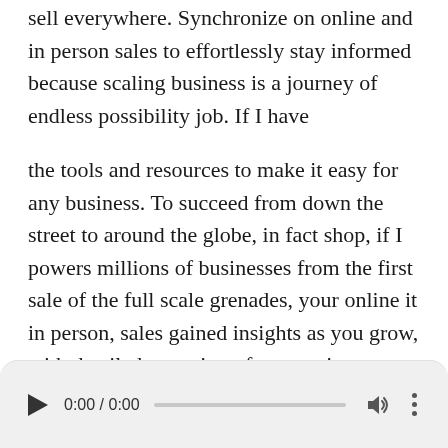sell everywhere. Synchronize on online and in person sales to effortlessly stay informed because scaling business is a journey of endless possibility job. If I have

the tools and resources to make it easy for any business. To succeed from down the street to around the globe, in fact shop, if I powers millions of businesses from the first sale of the full scale grenades, your online it in person, sales gained insights as you grow, with detailed reporting of conversion rates, profit margins and beyond, and because it's more than a store shop, a fight grows with you this possibility powered by shop. If I gotta shop, if I tat comes lash, lore all lower case for a free fourteen day trial and get full access to shop. A fine entire suite of features grow, you're busy, today with shop. If I go to shop fight
[Figure (other): Audio player control bar with play button, time display (0:00 / 0:00), progress bar, volume button, and more options button]